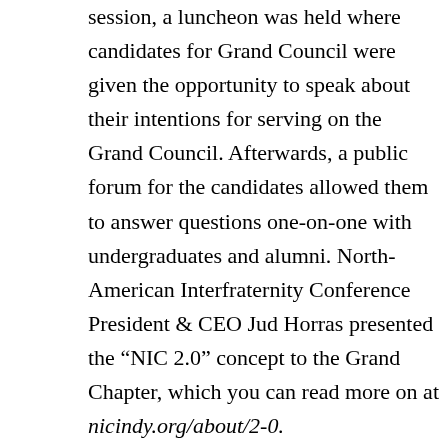session, a luncheon was held where candidates for Grand Council were given the opportunity to speak about their intentions for serving on the Grand Council. Afterwards, a public forum for the candidates allowed them to answer questions one-on-one with undergraduates and alumni. North-American Interfraternity Conference President & CEO Jud Horras presented the “NIC 2.0” concept to the Grand Chapter, which you can read more on at nicindy.org/about/2-0.
After the last business session on Thursday, the Historical Society held their biennial meeting, and then assisted in performing a model initiation for the Grand Chapter. The Educational Foundation also hosted an event on